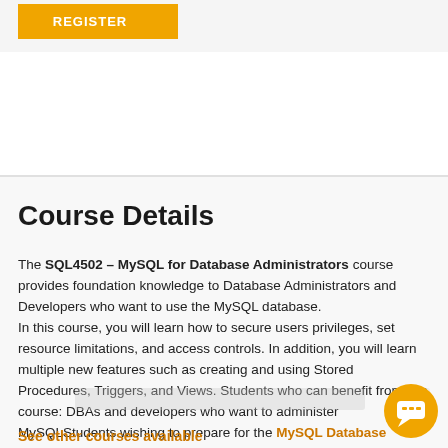[Figure (other): Orange REGISTER button at the top left of the page]
Course Details
The SQL4502 – MySQL for Database Administrators course provides foundation knowledge to Database Administrators and Developers who want to use the MySQL database.
In this course, you will learn how to secure users privileges, set resource limitations, and access controls. In addition, you will learn multiple new features such as creating and using Stored Procedures, Triggers, and Views. Students who can benefit from this course: DBAs and developers who want to administer MySQLStudents wishing to prepare for the MySQL Database Administrator Certification exams.
See other courses available